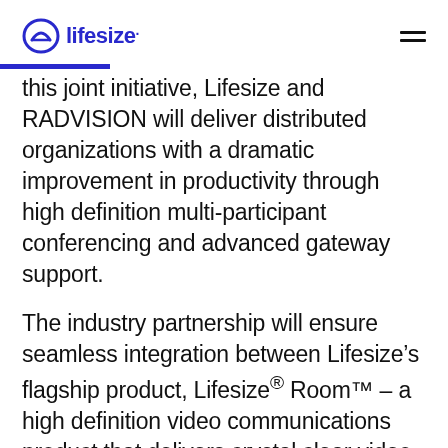lifesize
this joint initiative, Lifesize and RADVISION will deliver distributed organizations with a dramatic improvement in productivity through high definition multi-participant conferencing and advanced gateway support.
The industry partnership will ensure seamless integration between Lifesize’s flagship product, Lifesize® Room™ – a high definition video communications product that delivers crystal clear video and high fidelity audio – and RADVISION’s recently